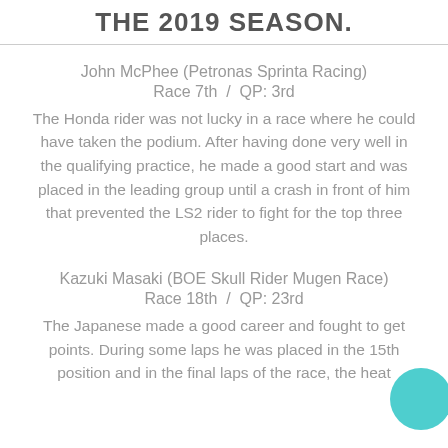THE 2019 SEASON.
John McPhee (Petronas Sprinta Racing)
Race 7th / QP: 3rd
The Honda rider was not lucky in a race where he could have taken the podium. After having done very well in the qualifying practice, he made a good start and was placed in the leading group until a crash in front of him that prevented the LS2 rider to fight for the top three places.
Kazuki Masaki (BOE Skull Rider Mugen Race)
Race 18th / QP: 23rd
The Japanese made a good career and fought to get points. During some laps he was placed in the 15th position and in the final laps of the race, the heat